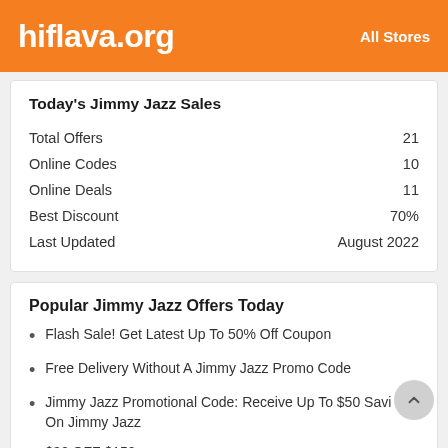hiflava.org   All Stores
Today's Jimmy Jazz Sales
| Total Offers | 21 |
| Online Codes | 10 |
| Online Deals | 11 |
| Best Discount | 70% |
| Last Updated | August 2022 |
Popular Jimmy Jazz Offers Today
Flash Sale! Get Latest Up To 50% Off Coupon
Free Delivery Without A Jimmy Jazz Promo Code
Jimmy Jazz Promotional Code: Receive Up To $50 Savi... On Jimmy Jazz
$30 OFF $150
Discount 20% Off (text partially cut off)